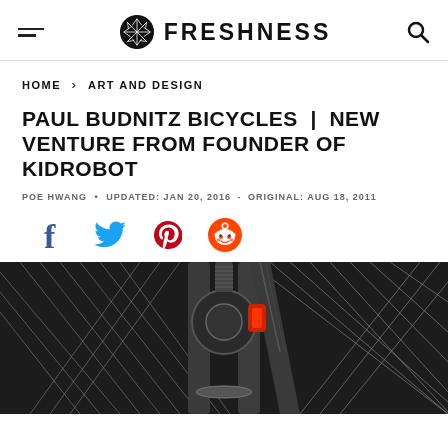FRESHNESS
HOME > ART AND DESIGN
PAUL BUDNITZ BICYCLES | NEW VENTURE FROM FOUNDER OF KIDROBOT
POE HWANG • UPDATED: JAN 20, 2016 - ORIGINAL: AUG 18, 2011
[Figure (infographic): Social sharing icons: Facebook, Twitter, Pinterest, Reddit]
[Figure (photo): Close-up photo of a bicycle wheel hub, spokes, and disc brake components in metallic silver/chrome with orange/red brake caliper details]